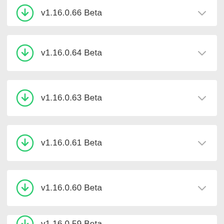v1.16.0.66 Beta
v1.16.0.64 Beta
v1.16.0.63 Beta
v1.16.0.61 Beta
v1.16.0.60 Beta
v1.16.0.59 Beta